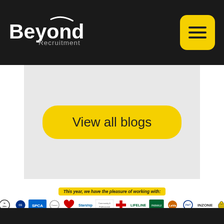Beyond Recruitment — navigation header
[Figure (screenshot): Yellow 'View all blogs' button on gray background]
This year, we have the pleasure of working with:
[Figure (logo): Row of partner organization logos: St John, SPCA, Cancer Society, Starship, Red Cross, Lifeline, Paranui, Le Va, Inzone and others]